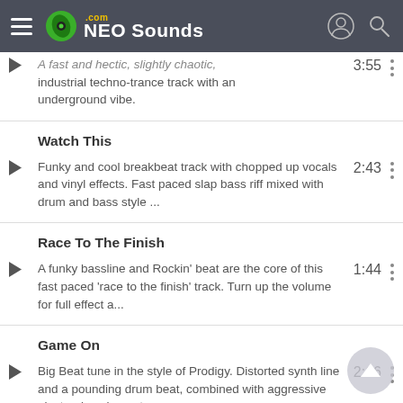NEO Sounds .com
A fast and hectic, slightly chaotic, industrial techno-trance track with an underground vibe.
Watch This
Funky and cool breakbeat track with chopped up vocals and vinyl effects. Fast paced slap bass riff mixed with drum and bass style ...
Race To The Finish
A funky bassline and Rockin' beat are the core of this fast paced 'race to the finish' track. Turn up the volume for full effect a...
Game On
Big Beat tune in the style of Prodigy. Distorted synth line and a pounding drum beat, combined with aggressive electronica elements.